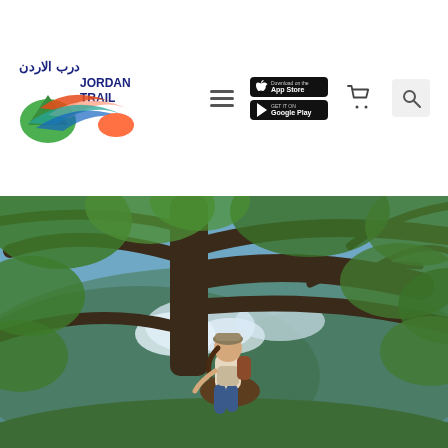[Figure (logo): Jordan Trail logo with colorful mountain/bird graphic and Arabic text درب الاردن above JORDAN TRAIL text]
[Figure (screenshot): Navigation bar with hamburger menu icon, App Store and Google Play download buttons, shopping cart icon, and search icon]
[Figure (photo): Outdoor nature photo of a person wearing a hat and backpack sitting on a large tree branch, surrounded by lush green oak trees with blue sky and mountains visible in the background]